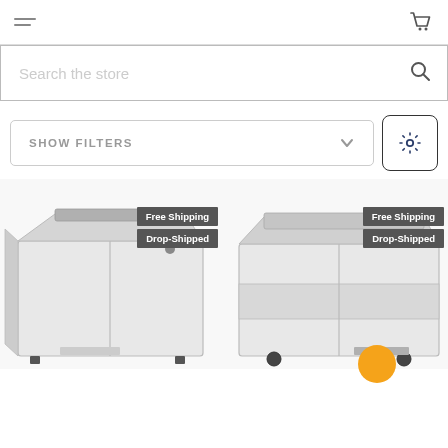Navigation header with hamburger menu and shopping cart icon
Search the store
SHOW FILTERS
[Figure (photo): Commercial milk cooler / refrigerator unit, white and stainless steel, viewed from front-left angle, with 'Free Shipping' and 'Drop-Shipped' badges]
[Figure (photo): Commercial milk cooler / refrigerator unit, white and stainless steel, viewed from front-right angle, with 'Free Shipping' and 'Drop-Shipped' badges]